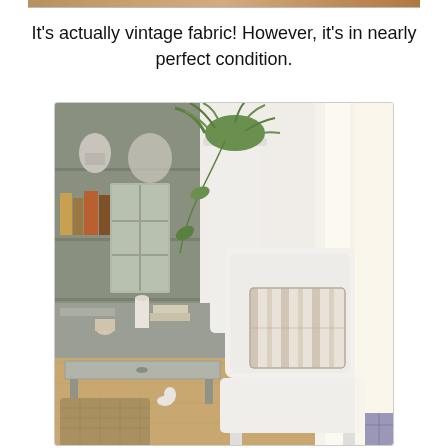[Figure (photo): Top portion of a previous image partially visible as a strip at the top of the page]
It's actually vintage fabric!  However, it's in nearly perfect condition.
[Figure (photo): Interior room photo showing a white slipcovered chair with a beige and white striped pillow, a gray painted secretary desk/bookcase with books and decorative items, a tall white canister with a hanging green plant, sheer curtains, and a wicker basket on a wood floor.]